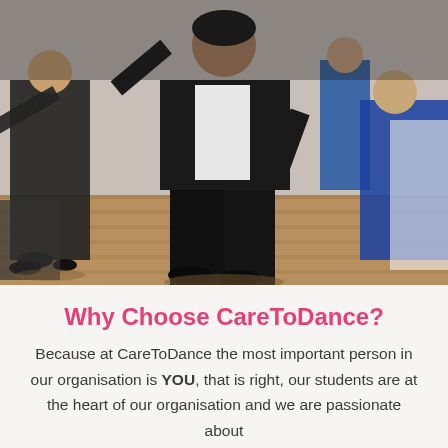[Figure (photo): A group of people ballroom dancing in a hall. A man in a black suit and white shirt is prominently featured in the center, dancing energetically. Other dancers in formal attire are visible in the background on a wooden floor.]
Why Choose CareToDance?
Because at CareToDance the most important person in our organisation is YOU, that is right, our students are at the heart of our organisation and we are passionate about